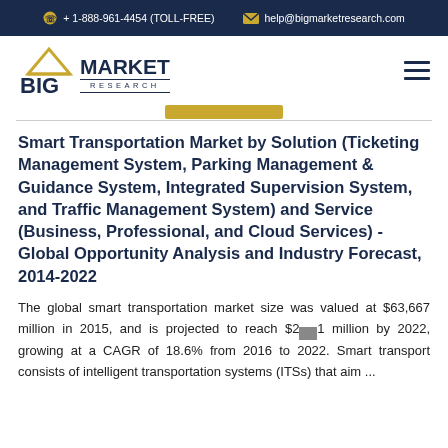+ 1-888-961-4454 (TOLL-FREE)    help@bigmarketresearch.com
[Figure (logo): Big Market Research logo with triangle graphic above BIG text and MARKET RESEARCH below with decorative lines]
Smart Transportation Market by Solution (Ticketing Management System, Parking Management & Guidance System, Integrated Supervision System, and Traffic Management System) and Service (Business, Professional, and Cloud Services) - Global Opportunity Analysis and Industry Forecast, 2014-2022
The global smart transportation market size was valued at $63,667 million in 2015, and is projected to reach $2[...] million by 2022, growing at a CAGR of 18.6% from 2016 to 2022. Smart transport consists of intelligent transportation systems (ITSs) that aim ...